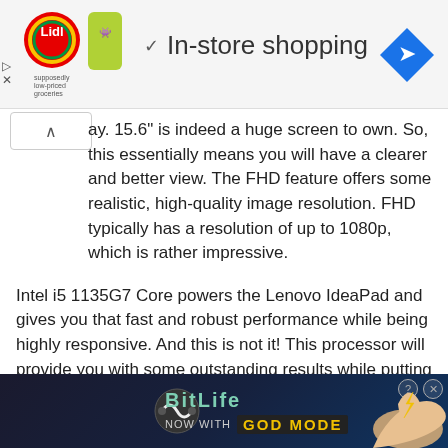[Figure (screenshot): Ad banner showing Lidl grocery store advertisement with 'In-store shopping' text and a blue diamond navigation icon on the right]
ay. 15.6" is indeed a huge screen to own. So, this essentially means you will have a clearer and better view. The FHD feature offers some realistic, high-quality image resolution. FHD typically has a resolution of up to 1080p, which is rather impressive.
Intel i5 1135G7 Core powers the Lenovo IdeaPad and gives you that fast and robust performance while being highly responsive. And this is not it! This processor will provide you with some outstanding results while putting a minimal load on the system in the long run.
Intel’s latest Iris Xe graphics have been incor[Close X] in this Le[BitLife NOW WITH GOD MODE ad overlay]ary, deliver